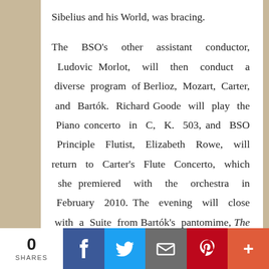Sibelius and his World, was bracing.
The BSO's other assistant conductor, Ludovic Morlot, will then conduct a diverse program of Berlioz, Mozart, Carter, and Bartók. Richard Goode will play the Piano concerto in C, K. 503, and BSO Principle Flutist, Elizabeth Rowe, will return to Carter's Flute Concerto, which she premiered with the orchestra in February 2010. The evening will close with a Suite from Bartók's pantomime, The Miraculous Mandarin,
0 SHARES | Facebook | Twitter | Email | Pinterest | More